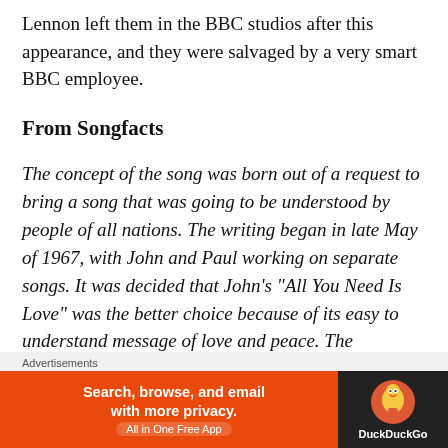Lennon left them in the BBC studios after this appearance, and they were salvaged by a very smart BBC employee.
From Songfacts
The concept of the song was born out of a request to bring a song that was going to be understood by people of all nations. The writing began in late May of 1967, with John and Paul working on separate songs. It was decided that John's “All You Need Is Love” was the better choice because of its easy to understand message of love and peace. The
Advertisements
[Figure (other): DuckDuckGo advertisement banner: 'Search, browse, and email with more privacy. All in One Free App' with DuckDuckGo duck logo on dark background]